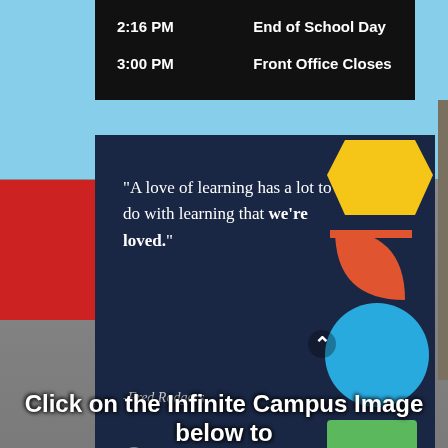| Time | Event |
| --- | --- |
| 2:16 PM | End of School Day |
| 3:00 PM | Front Office Closes |
[Figure (infographic): Dark navy quote card with colorful geometric shapes (yellow pentagon, orange semicircle, blue circle, green square, yellow shape) on the right side. Quote text reads: 'A love of learning has a lot to do with learning that we're loved.' attributed to -Fred Rodgers. FranklinCovey and LeaderInMe logos at bottom.]
Click on the Infinite Campus Image below to